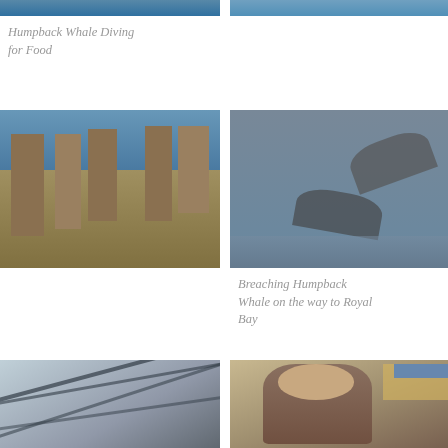[Figure (photo): Top-cropped photo of humpback whale diving, only bottom portion visible]
[Figure (photo): Top-cropped photo of whale/ocean, only bottom portion visible]
Humpback Whale Diving for Food
[Figure (photo): Ancient Roman road with stone pavers and columns, sunny day, tourists in background]
[Figure (photo): Breaching humpback whales photographed from above on grey water, two whales visible]
Breaching Humpback Whale on the way to Royal Bay
[Figure (photo): Modern train station or market with glass and iron roof structure]
[Figure (photo): Man wearing brown jacket speaking in front of a sign that reads something about Arctic]